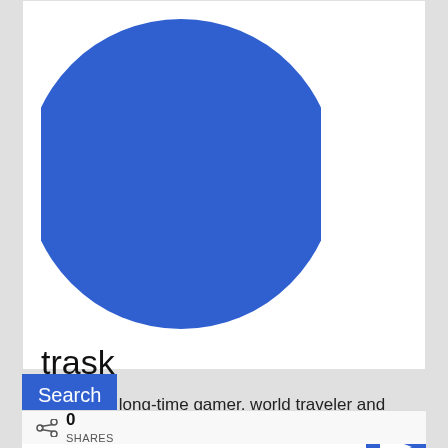[Figure (illustration): Large blue circle serving as a profile avatar/placeholder image]
trask
Trask is a long-time gamer, world traveler and history buff. He hopes that his scribblings will both inform and advance gaming as a hobby.
Search
0 SHARES